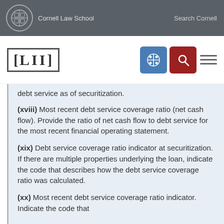Cornell Law School  Search Cornell
[LII]
debt service as of securitization.
(xviii) Most recent debt service coverage ratio (net cash flow). Provide the ratio of net cash flow to debt service for the most recent financial operating statement.
(xix) Debt service coverage ratio indicator at securitization. If there are multiple properties underlying the loan, indicate the code that describes how the debt service coverage ratio was calculated.
(xx) Most recent debt service coverage ratio indicator. Indicate the code that